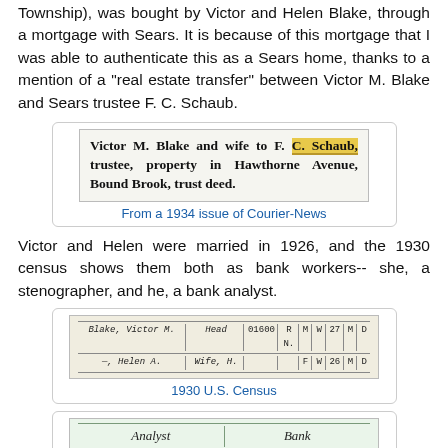Township), was bought by Victor and Helen Blake, through a mortgage with Sears. It is because of this mortgage that I was able to authenticate this as a Sears home, thanks to a mention of a "real estate transfer" between Victor M. Blake and Sears trustee F. C. Schaub.
[Figure (photo): Newspaper snippet reading: Victor M. Blake and wife to F. C. Schaub, trustee, property in Hawthorne Avenue, Bound Brook, trust deed. 'C. Schaub' is highlighted in yellow.]
From a 1934 issue of Courier-News
Victor and Helen were married in 1926, and the 1930 census shows them both as bank workers-- she, a stenographer, and he, a bank analyst.
[Figure (photo): 1930 U.S. Census record showing BLAKE, Victor M. as Head, and Helen A. as Wife.]
1930 U.S. Census
[Figure (photo): 1930 U.S. Census showing occupations: Analyst - Bank, Stenographer - Bank, on green-tinted paper.]
1930 U.S. Census showing the Blakes' occupations